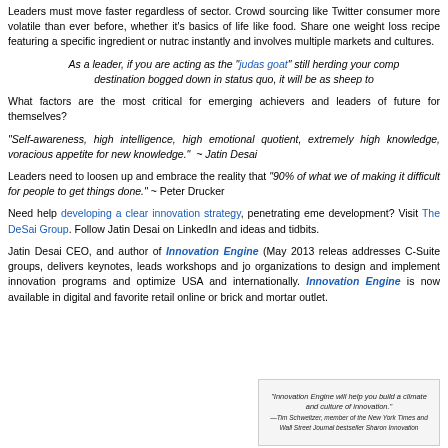Leaders must move faster regardless of sector. Crowd sourcing like Twitter makes the consumer more volatile than ever before, whether it's basics of life like food. Share one weight loss recipe featuring a specific ingredient or nutraceutical instantly and involves multiple markets and cultures.
As a leader, if you are acting as the "judas goat" still herding your comp... destination bogged down in status quo, it will be as sheep to...
What factors are the most critical for emerging achievers and leaders of future for themselves?
"Self-awareness, high intelligence, high emotional quotient, extremely high knowledge, voracious appetite for new knowledge." ~ Jatin Desai
Leaders need to loosen up and embrace the reality that "90% of what we... of making it difficult for people to get things done." ~ Peter Drucker
Need help developing a clear innovation strategy, penetrating eme... development? Visit The DeSai Group. Follow Jatin Desai on LinkedIn and ideas and tidbits.
Jatin Desai CEO, and author of Innovation Engine (May 2013 releas... addresses C-Suite groups, delivers keynotes, leads workshops and jo... organizations to design and implement innovation programs and optimize... USA and internationally. Innovation Engine is now available in digital and favorite retail online or brick and mortar outlet.
[Figure (photo): Book cover or promotional image for Innovation Engine with quote text]